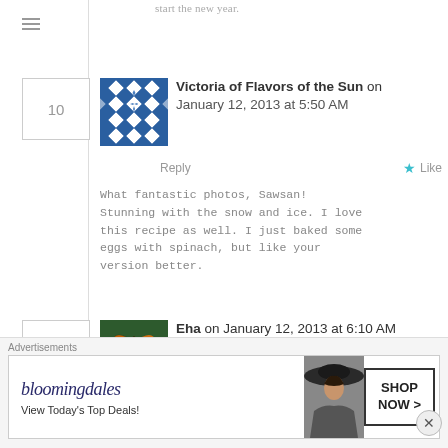start the new year.
10
[Figure (illustration): Geometric blue and white quilt-pattern avatar for Victoria of Flavors of the Sun]
Victoria of Flavors of the Sun on January 12, 2013 at 5:50 AM
Reply
Like
What fantastic photos, Sawsan! Stunning with the snow and ice. I love this recipe as well. I just baked some eggs with spinach, but like your version better.
11
[Figure (photo): Butterfly avatar photo showing an orange butterfly on pink flowers]
Eha on January 12, 2013 at 6:10 AM
Reply
Like
Advertisements
[Figure (screenshot): Bloomingdale's advertisement banner reading 'View Today's Top Deals!' with a woman in a wide-brim hat and SHOP NOW > button]